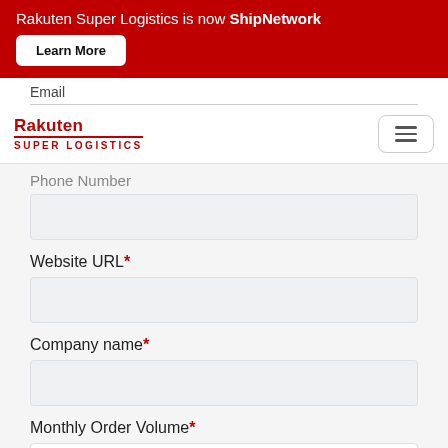Rakuten Super Logistics is now ShipNetwork
Learn More
[Figure (logo): Rakuten Super Logistics logo with red text and underline]
Email
Phone Number
Website URL*
Company name*
Monthly Order Volume*
Please Select